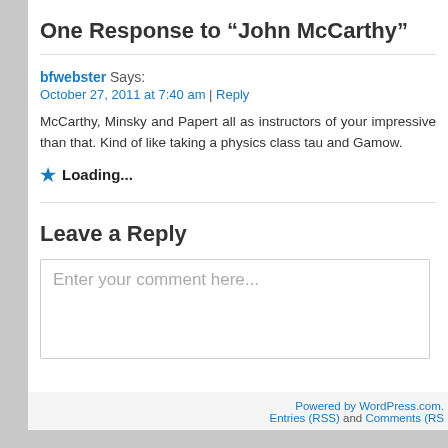One Response to “John McCarthy”
bfwebster Says:
October 27, 2011 at 7:40 am | Reply
McCarthy, Minsky and Papert all as instructors of your impressive than that. Kind of like taking a physics class tau and Gamow.
★ Loading...
Leave a Reply
Enter your comment here...
Powered by WordPress.com. Entries (RSS) and Comments (RS